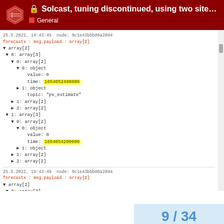🔒 Solcast, tuning discontinued, using two site... General
[Figure (screenshot): Debug console showing JSON tree structure with two entries. First entry at 25.5.2022 19:43:49 node 8c1e43bbb06a2804, forecasts msg payload array[2], showing array[2] with nested array[3], array[2], object with value:0 and time highlighted in yellow: 1654052400000, object with topic: pv_estimate, array[2] items. Second entry with array[3], array[2], object value:0 time highlighted in yellow 1654054200000. Second screenshot block also at 25.5.2022 19:43:49, forecasts msg payload array[2], array[2], array[3], array[2], object value:100.8 time highlighted in pink: 1654056000000, array[2], array[2], array[3].]
9 / 34